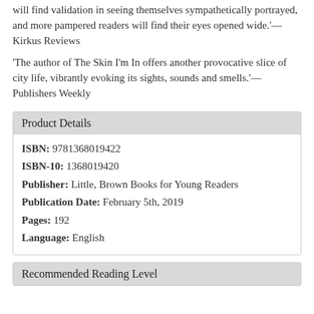will find validation in seeing themselves sympathetically portrayed, and more pampered readers will find their eyes opened wide.'—Kirkus Reviews
'The author of The Skin I'm In offers another provocative slice of city life, vibrantly evoking its sights, sounds and smells.'—Publishers Weekly
Product Details
| Field | Value |
| --- | --- |
| ISBN: | 9781368019422 |
| ISBN-10: | 1368019420 |
| Publisher: | Little, Brown Books for Young Readers |
| Publication Date: | February 5th, 2019 |
| Pages: | 192 |
| Language: | English |
Recommended Reading Level